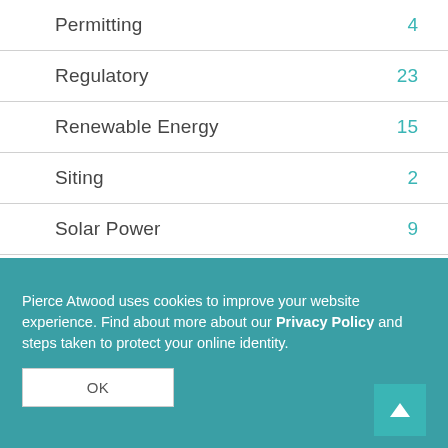Permitting 4
Regulatory 23
Renewable Energy 15
Siting 2
Solar Power 9
Tax 7
Tax Credits 7
Tidal Power 1
Uncategorized 1
Pierce Atwood uses cookies to improve your website experience. Find about more about our Privacy Policy and steps taken to protect your online identity.